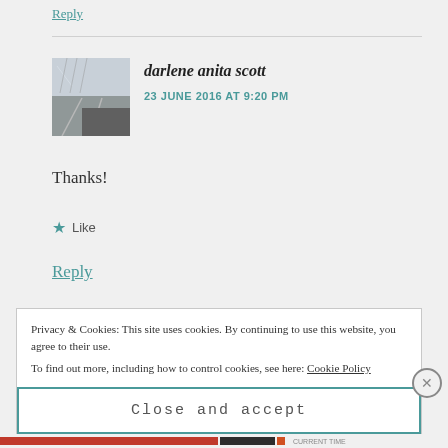Reply
[Figure (photo): Car side mirror reflection photo used as avatar]
darlene anita scott
23 JUNE 2016 AT 9:20 PM
Thanks!
★ Like
Reply
Privacy & Cookies: This site uses cookies. By continuing to use this website, you agree to their use.
To find out more, including how to control cookies, see here: Cookie Policy
Close and accept